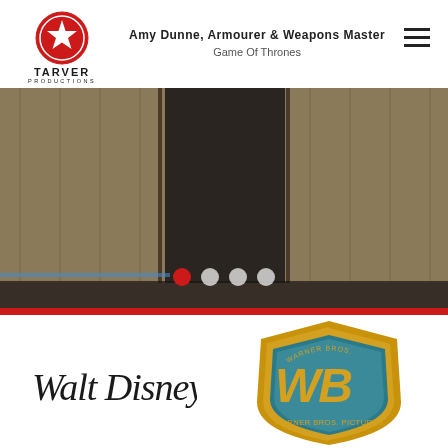[Figure (logo): Tarver Productions logo: red circle with white star, text TARVER PRODUCTIONS below]
Amy Dunne, Armourer & Weapons Master – Game Of Thrones
[Figure (photo): Hero image / slideshow background showing wooden props/set pieces in a darkened workshop environment. Four pagination dots visible at bottom, first dot active (red), remaining three white.]
[Figure (logo): Walt Disney logo in black cursive script]
[Figure (logo): Warner Bros. Pictures shield logo in gold and teal]